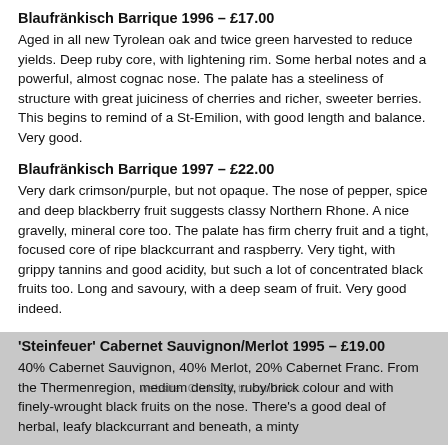Blaufränkisch Barrique 1996 – £17.00
Aged in all new Tyrolean oak and twice green harvested to reduce yields. Deep ruby core, with lightening rim. Some herbal notes and a powerful, almost cognac nose. The palate has a steeliness of structure with great juiciness of cherries and richer, sweeter berries. This begins to remind of a St-Emilion, with good length and balance. Very good.
Blaufränkisch Barrique 1997 – £22.00
Very dark crimson/purple, but not opaque. The nose of pepper, spice and deep blackberry fruit suggests classy Northern Rhone. A nice gravelly, mineral core too. The palate has firm cherry fruit and a tight, focused core of ripe blackcurrant and raspberry. Very tight, with grippy tannins and good acidity, but such a lot of concentrated black fruits too. Long and savoury, with a deep seam of fruit. Very good indeed.
'Steinfeuer' Cabernet Sauvignon/Merlot 1995 – £19.00
40% Cabernet Sauvignon, 40% Merlot, 20% Cabernet Franc. From the Thermenregion, medium density, ruby/brick colour and with finely-wrought black fruits on the nose. There's a good deal of herbal, leafy blackcurrant and beneath, a minty